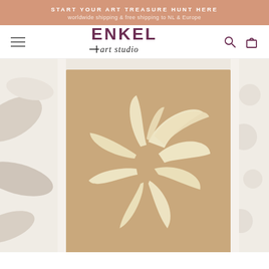START YOUR ART TREASURE HUNT HERE
worldwide shipping & free shipping to NL & Europe
[Figure (logo): ENKEL art studio logo with hamburger menu, search icon, and shopping bag icon in navigation bar]
[Figure (photo): Art print displayed on a tan/beige canvas showing a cream-colored abstract palm leaf or botanical swirl design, framed, against a textured warm background with abstract organic shapes on left and right edges]